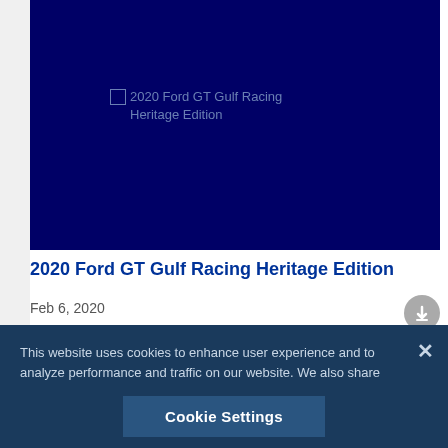[Figure (photo): Dark navy blue image area showing a broken image placeholder with alt text '2020 Ford GT Gulf Racing Heritage Edition']
2020 Ford GT Gulf Racing Heritage Edition
Feb 6, 2020
This website uses cookies to enhance user experience and to analyze performance and traffic on our website. We also share information about your use of our site with our social media, advertising, and analytics partners. Privacy Policy
Cookie Settings